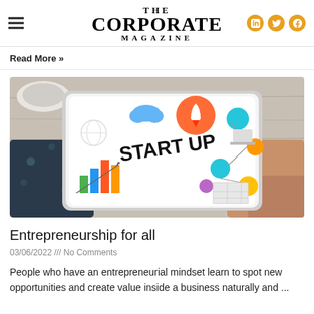THE CORPORATE MAGAZINE
Read More »
[Figure (photo): Person holding a tablet displaying a startup business infographic with colorful icons for a rocket, cloud, globe, charts, and the text 'START UP']
Entrepreneurship for all
03/06/2022 /// No Comments
People who have an entrepreneurial mindset learn to spot new opportunities and create value inside a business naturally and ...